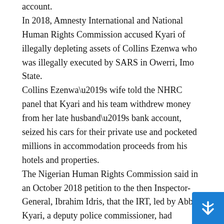account.
In 2018, Amnesty International and National Human Rights Commission accused Kyari of illegally depleting assets of Collins Ezenwa who was illegally executed by SARS in Owerri, Imo State.
Collins Ezenwa's wife told the NHRC panel that Kyari and his team withdrew money from her late husband's bank account, seized his cars for their private use and pocketed millions in accommodation proceeds from his hotels and properties.
The Nigerian Human Rights Commission said in an October 2018 petition to the then Inspector-General, Ibrahim Idris, that the IRT, led by Abba Kyari, a deputy police commissioner, had depleted the asset of Collins Ezenwa, a suspected kidnapper who was gunned down in January 2018.
Kyari had said Ezenwa was a notorious kidnapper who had committed untold atrocities before he was killed.
The police in Imo State accused Ezenwa, a former police corporal, of leading a syndicate of deadly abductors. He was